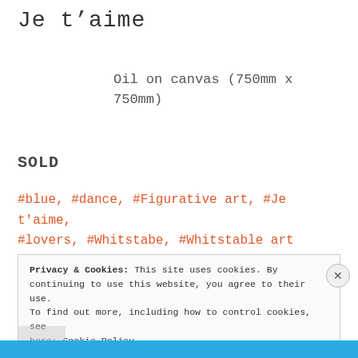Je t'aime
Oil on canvas (750mm x 750mm)
SOLD
#blue, #dance, #Figurative art, #Je t'aime, #lovers, #Whitstabe, #Whitstable art
Privacy & Cookies: This site uses cookies. By continuing to use this website, you agree to their use. To find out more, including how to control cookies, see here: Cookie Policy
Close and accept